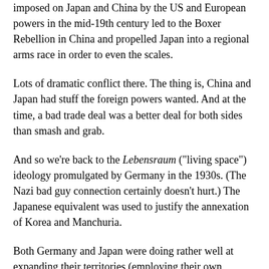imposed on Japan and China by the US and European powers in the mid-19th century led to the Boxer Rebellion in China and propelled Japan into a regional arms race in order to even the scales.
Lots of dramatic conflict there. The thing is, China and Japan had stuff the foreign powers wanted. And at the time, a bad trade deal was a better deal for both sides than smash and grab.
And so we're back to the Lebensraum ("living space") ideology promulgated by Germany in the 1930s. (The Nazi bad guy connection certainly doesn't hurt.) The Japanese equivalent was used to justify the annexation of Korea and Manchuria.
Both Germany and Japan were doing rather well at expanding their territories (employing their own "unequal treaty" tactics) before they started actually invading their neighbors, after which everything went downhill fast.
So we'll assume our invading aliens are smart enough not to turn the whole thing into a scorched-earth shooting war. The